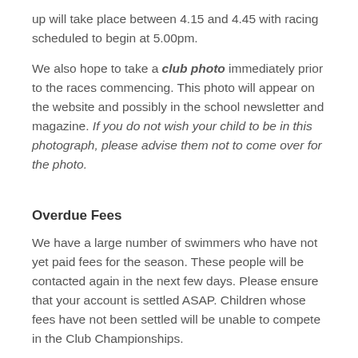up will take place between 4.15 and 4.45 with racing scheduled to begin at 5.00pm.
We also hope to take a club photo immediately prior to the races commencing. This photo will appear on the website and possibly in the school newsletter and magazine. If you do not wish your child to be in this photograph, please advise them not to come over for the photo.
Overdue Fees
We have a large number of swimmers who have not yet paid fees for the season. These people will be contacted again in the next few days. Please ensure that your account is settled ASAP. Children whose fees have not been settled will be unable to compete in the Club Championships.